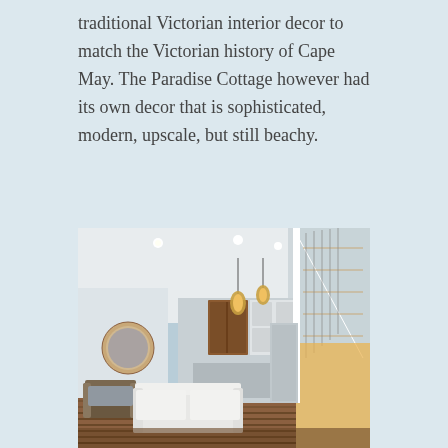traditional Victorian interior decor to match the Victorian history of Cape May. The Paradise Cottage however had its own decor that is sophisticated, modern, upscale, but still beachy.
[Figure (photo): Interior photo of the Paradise Cottage showing an open-plan living area with white walls, a white sofa, pendant lights, a round mirror, kitchen area in the background, and a modern staircase with cable railing on the right side. The space has warm lighting under the stairs and hardwood flooring.]